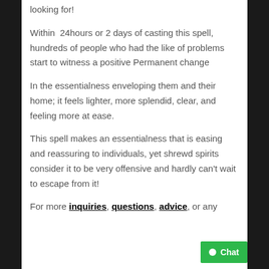looking for!
Within 24hours or 2 days of casting this spell, hundreds of people who had the like of problems start to witness a positive Permanent change
In the essentialness enveloping them and their home; it feels lighter, more splendid, clear, and feeling more at ease.
This spell makes an essentialness that is easing and reassuring to individuals, yet shrewd spirits consider it to be very offensive and hardly can't wait to escape from it!
For more inquiries, questions, advice, or any